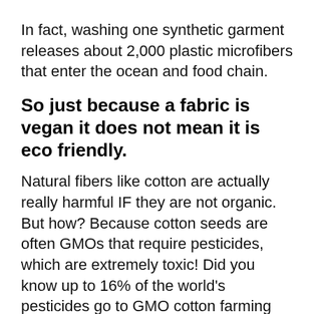In fact, washing one synthetic garment releases about 2,000 plastic microfibers that enter the ocean and food chain.
So just because a fabric is vegan it does not mean it is eco friendly.
Natural fibers like cotton are actually really harmful IF they are not organic. But how? Because cotton seeds are often GMOs that require pesticides, which are extremely toxic! Did you know up to 16% of the world's pesticides go to GMO cotton farming every year!? Such chemicals degrade soil and pollute water as well as poison cotton